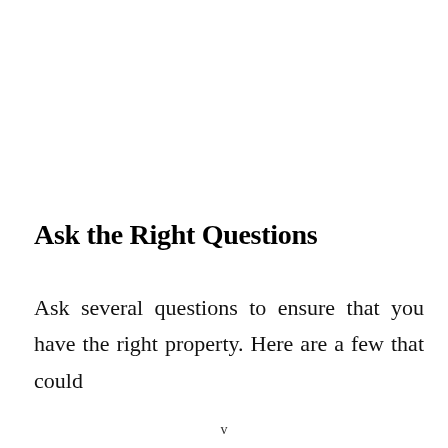Ask the Right Questions
Ask several questions to ensure that you have the right property. Here are a few that could
v